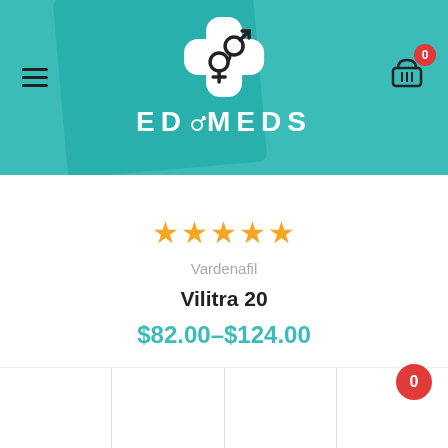[Figure (screenshot): ED Meds website header with teal background, logo with cross and gender symbols, hamburger menu on left, shopping cart with badge '0' on right, and faint product packaging in background.]
★★★★★
Vardenafil
Vilitra 20
$82.00–$124.00
Select Options